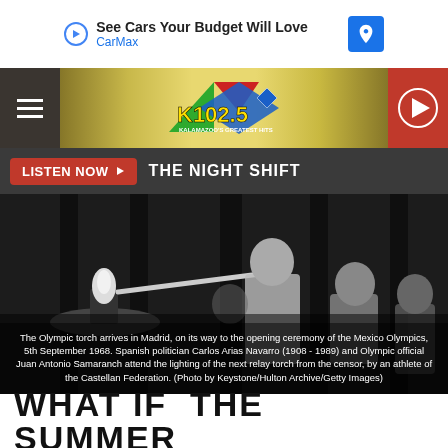[Figure (screenshot): Advertisement banner: 'See Cars Your Budget Will Love' CarMax ad with play icon on left and blue navigation icon on right]
[Figure (logo): K102.5 radio station header with hamburger menu on left, K102.5 logo in center, and red play button on right]
LISTEN NOW ▶   THE NIGHT SHIFT
[Figure (photo): Black and white photograph of Olympic torch arriving in Madrid on its way to the opening ceremony of the Mexico Olympics, 5th September 1968. Spanish politician Carlos Arias Navarro (1908-1989) and Olympic official Juan Antonio Samaranch attend the lighting of the next relay torch from the censor, by an athlete of the Castellan Federation. (Photo by Keystone/Hulton Archive/Getty Images)]
The Olympic torch arrives in Madrid, on its way to the opening ceremony of the Mexico Olympics, 5th September 1968. Spanish politician Carlos Arias Navarro (1908 - 1989) and Olympic official Juan Antonio Samaranch attend the lighting of the next relay torch from the censor, by an athlete of the Castellan Federation. (Photo by Keystone/Hulton Archive/Getty Images)
WHAT IF  THE SUMMER